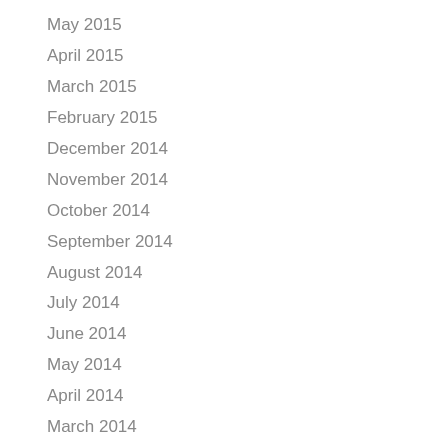May 2015
April 2015
March 2015
February 2015
December 2014
November 2014
October 2014
September 2014
August 2014
July 2014
June 2014
May 2014
April 2014
March 2014
February 2014